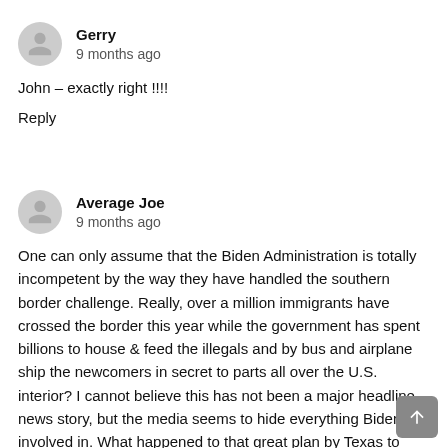Gerry
9 months ago
John – exactly right !!!!
Reply
Average Joe
9 months ago
One can only assume that the Biden Administration is totally incompetent by the way they have handled the southern border challenge. Really, over a million immigrants have crossed the border this year while the government has spent billions to house & feed the illegals and by bus and airplane ship the newcomers in secret to parts all over the U.S. interior? I cannot believe this has not been a major headline news story, but the media seems to hide everything Biden get involved in. What happened to that great plan by Texas to complete some of the unfinished border wall? Leaving metal and cement from border wall construction to sit in the open while still paying the contractors under the government contracts to do